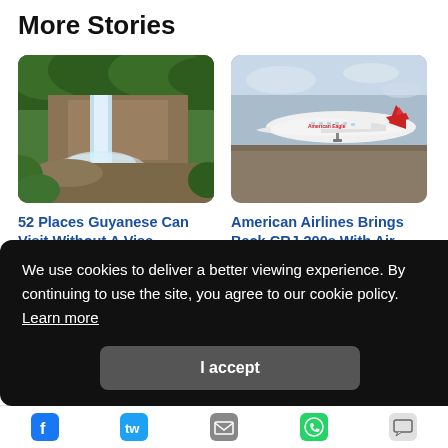More Stories
[Figure (photo): Waterfall in a lush green tropical landscape with rocky cliffs]
[Figure (photo): American Eagle aircraft on a runway or tarmac under a cloudy sky]
52 Places Guyanese Can Visit Without A Visa
American Airlines Brings Back CRJ-200s With Air Wisconsin Partnership
We use cookies to deliver a better viewing experience. By continuing to use the site, you agree to our cookie policy. Learn more
I accept